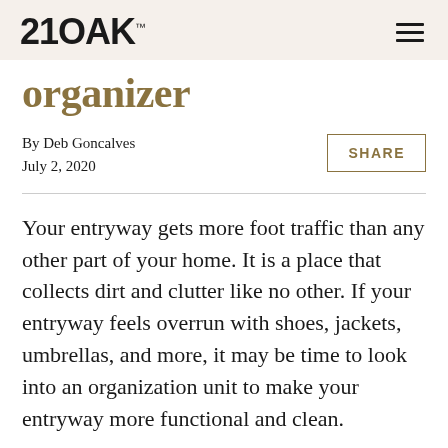21 OAK
organizer
By Deb Goncalves
July 2, 2020
SHARE
Your entryway gets more foot traffic than any other part of your home. It is a place that collects dirt and clutter like no other. If your entryway feels overrun with shoes, jackets, umbrellas, and more, it may be time to look into an organization unit to make your entryway more functional and clean.